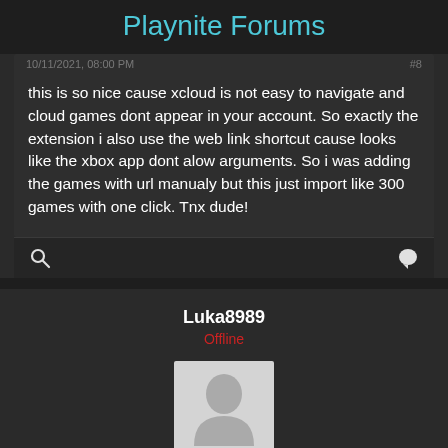Playnite Forums
this is so nice cause xcloud is not easy to navigate and cloud games dont appear in your account. So exactly the extension i also use the web link shortcut cause looks like the xbox app dont alow arguments. So i was adding the games with url manualy but this just import like 300 games with one click. Tnx dude!
Luka8989
Offline